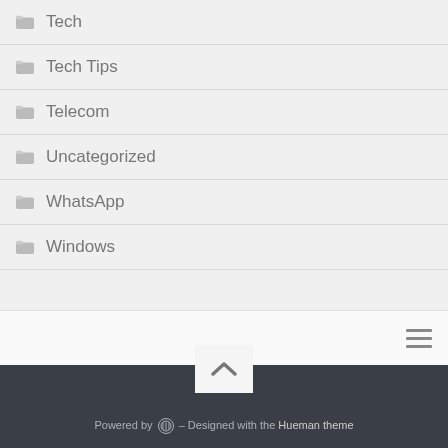Tech
Tech Tips
Telecom
Uncategorized
WhatsApp
Windows
Powered by WordPress – Designed with the Hueman theme